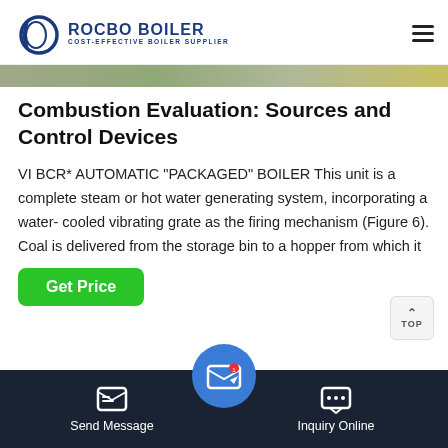ROCBO BOILER - COST-EFFECTIVE BOILER SUPPLIER
[Figure (photo): Top strip image of boiler/industrial equipment]
Combustion Evaluation: Sources and Control Devices
VI BCR* AUTOMATIC "PACKAGED" BOILER This unit is a complete steam or hot water generating system, incorporating a water- cooled vibrating grate as the firing mechanism (Figure 6). Coal is delivered from the storage bin to a hopper from which it
[Figure (photo): Bottom strip image showing yellow pipes in an industrial setting]
Send Message | Inquiry Online